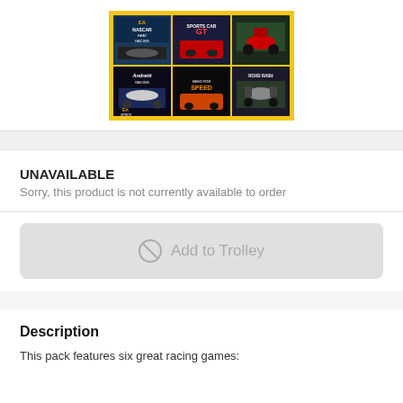[Figure (photo): Grid of 6 racing video game covers arranged 3x2, with a yellow border. Top row includes NASCAR Heat Racing, Sports Car GT, and a motorcycle racing game. Bottom row includes Andretti Racing, Need for Speed, and Road Rash. EA Sports branding visible.]
UNAVAILABLE
Sorry, this product is not currently available to order
Add to Trolley
Description
This pack features six great racing games: